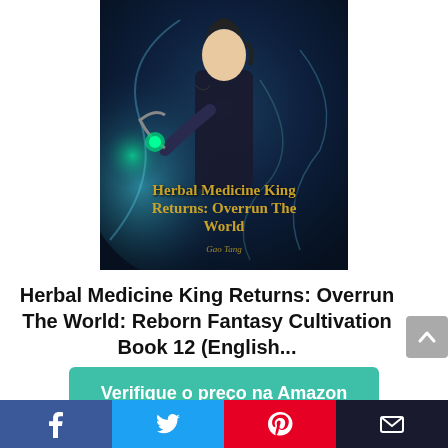[Figure (illustration): Book cover for 'Herbal Medicine King Returns: Overrun The World'. Dark fantasy artwork showing a young man in black clothing holding a glowing staff/instrument with blue and green magical energy swirling around him. Title text in gold/yellow appears on the cover.]
Herbal Medicine King Returns: Overrun The World: Reborn Fantasy Cultivation Book 12 (English...
Verifique o preço na Amazon
Amazon.com.br